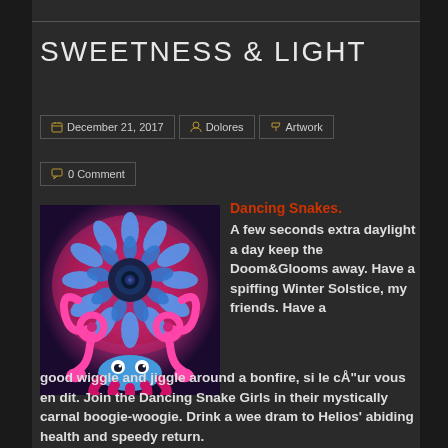SWEETNESS & LIGHT
December 21, 2017  Dolores  Artwork
0 Comment
[Figure (illustration): Colorful psychedelic mandala artwork featuring dancing snake girls with blue, pink, and purple colors on dark background]
Dancing Snakes. A few seconds extra daylight a day keep the Doom&Glooms away. Have a spiffing Winter Solstice, my friends. Have a good wiggle and jiggle around a bonfire, si le cÅ"ur vous en dit. Join the Dancing Snake Girls in their mystically carnal boogie-woogie. Drink a wee dram to Helios' abiding health and speedy return. Burn the effigies of your top ten most...